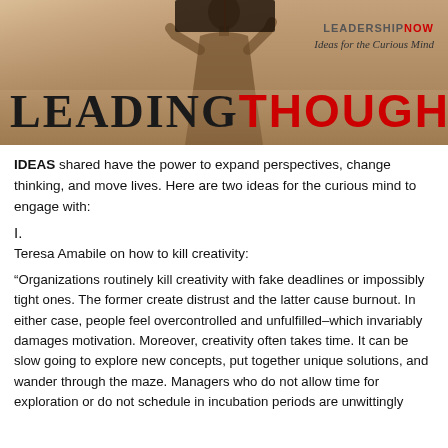[Figure (illustration): Banner image showing a person reading a book, with sepia/warm tone background. Text overlay reads 'LEADINGTHOUGHTS' with 'LEADERSHIP NOW' and tagline 'Ideas for the Curious Mind'.]
IDEAS shared have the power to expand perspectives, change thinking, and move lives. Here are two ideas for the curious mind to engage with:
I.
Teresa Amabile on how to kill creativity:
“Organizations routinely kill creativity with fake deadlines or impossibly tight ones. The former create distrust and the latter cause burnout. In either case, people feel overcontrolled and unfulfilled–which invariably damages motivation. Moreover, creativity often takes time. It can be slow going to explore new concepts, put together unique solutions, and wander through the maze. Managers who do not allow time for exploration or do not schedule in incubation periods are unwittingly